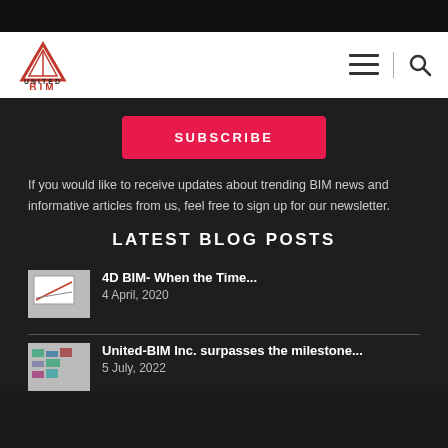United BIM - navigation header with hamburger menu and search icon
[Figure (logo): United BIM logo: red pyramid/triangle shape above text UNITED in black and BIM in red]
SUBSCRIBE
If you would like to receive updates about trending BIM news and informative articles from us, feel free to sign up for our newsletter.
LATEST BLOG POSTS
4D BIM- When the Time...
4 April, 2020
United-BIM Inc. surpasses the milestone...
5 July, 2022